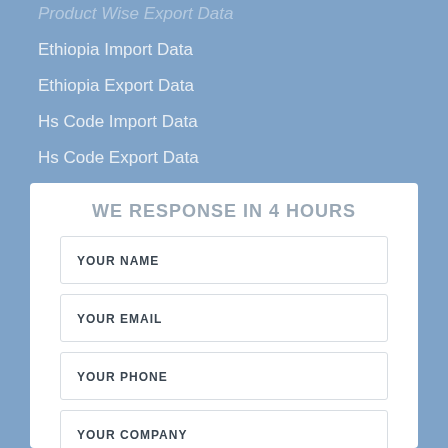Product Wise Export Data
Ethiopia Import Data
Ethiopia Export Data
Hs Code Import Data
Hs Code Export Data
WE RESPONSE IN 4 HOURS
YOUR NAME
YOUR EMAIL
YOUR PHONE
YOUR COMPANY